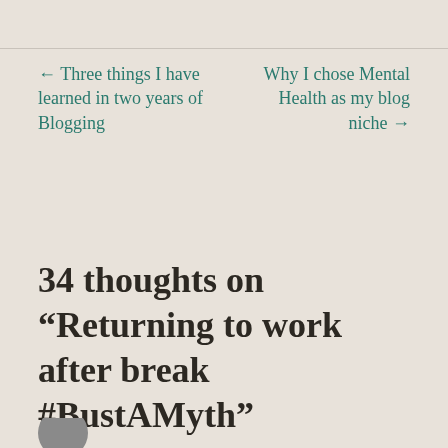← Three things I have learned in two years of Blogging
Why I chose Mental Health as my blog niche →
34 thoughts on “Returning to work after break #BustAMyth”